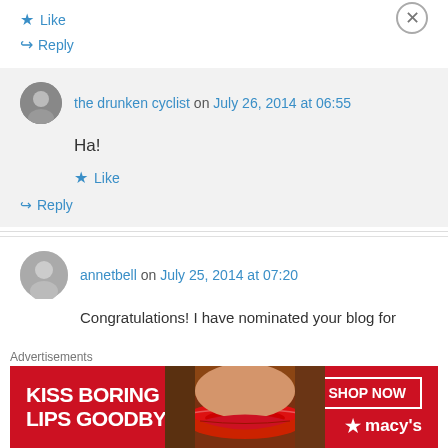★ Like
↪ Reply
the drunken cyclist on July 26, 2014 at 06:55
Ha!
★ Like
↪ Reply
annetbell on July 25, 2014 at 07:20
Congratulations! I have nominated your blog for
Advertisements
[Figure (infographic): Macy's advertisement banner: KISS BORING LIPS GOODBYE with SHOP NOW button and Macy's star logo, featuring a woman's face with red lips]